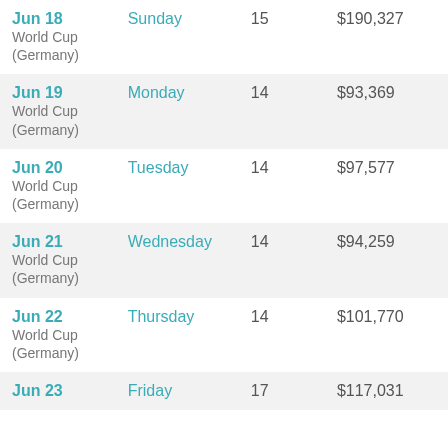| Date | Day | Count | Amount |
| --- | --- | --- | --- |
| Jun 18
World Cup (Germany) | Sunday | 15 | $190,327 |
| Jun 19
World Cup (Germany) | Monday | 14 | $93,369 |
| Jun 20
World Cup (Germany) | Tuesday | 14 | $97,577 |
| Jun 21
World Cup (Germany) | Wednesday | 14 | $94,259 |
| Jun 22
World Cup (Germany) | Thursday | 14 | $101,770 |
| Jun 23 | Friday | 17 | $117,031 |